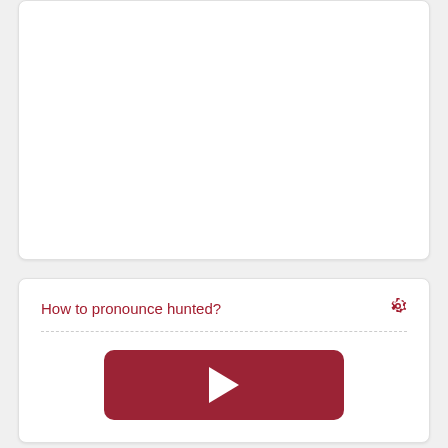[Figure (other): Empty white card area at the top of the page]
How to pronounce hunted?
[Figure (other): Play button (dark red rounded rectangle with white play triangle) for audio pronunciation]